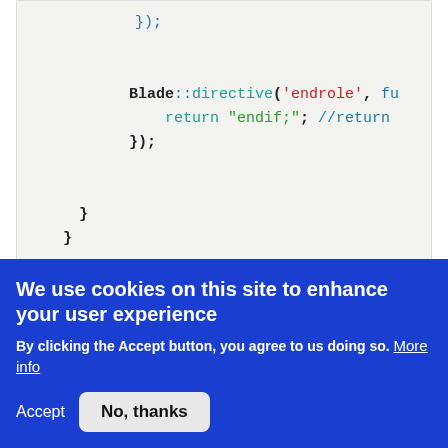[Figure (screenshot): Code block showing PHP/Laravel Blade directive code: }); then Blade::directive('endrole', fu... return "endif;" //retur... }); then closing braces } and }]
now we have to register our PermissionsServiceProvider. Open this following file
We use cookies on this site to enhance your user experience
By clicking the Accept button, you agree to us doing so. More info